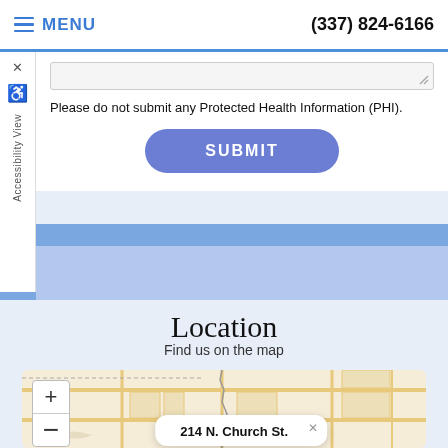MENU  (337) 824-6166
Please do not submit any Protected Health Information (PHI).
SUBMIT
Location
Find us on the map
[Figure (map): Interactive street map showing location near Fenton with zoom controls and a popup label reading '214 N. Church St.']
Fenton
214 N. Church St.